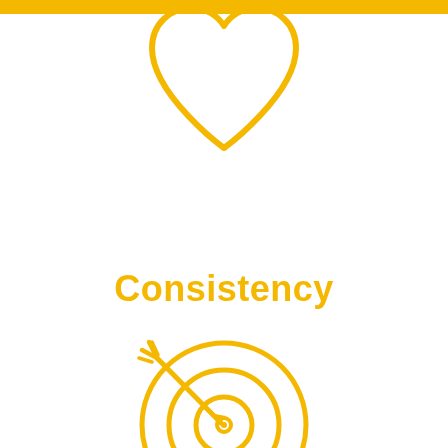[Figure (illustration): Yellow/gold outline heart icon at the top of the page, partially cropped by the top edge, with a yellow horizontal bar at the very top]
Consistency
[Figure (illustration): Yellow/gold outline target/bullseye icon with an arrow through it, featuring concentric circles and an arrow pointing into the center from the upper-left]